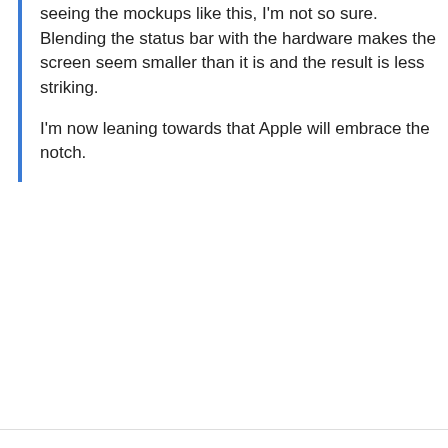seeing the mockups like this, I'm not so sure. Blending the status bar with the hardware makes the screen seem smaller than it is and the result is less striking.
I'm now leaning towards that Apple will embrace the notch.